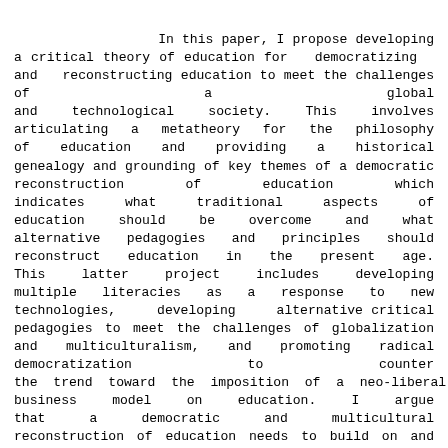In this paper, I propose developing a critical theory of education for democratizing and reconstructing education to meet the challenges of a global and technological society. This involves articulating a metatheory for the philosophy of education and providing a historical genealogy and grounding of key themes of a democratic reconstruction of education which indicates what traditional aspects of education should be overcome and what alternative pedagogies and principles should reconstruct education in the present age. This latter project includes developing multiple literacies as a response to new technologies, developing alternative critical pedagogies to meet the challenges of globalization and multiculturalism, and promoting radical democratization to counter the trend toward the imposition of a neo-liberal business model on education. I argue that a democratic and multicultural reconstruction of education needs to build on and synthesize perspectives of classical